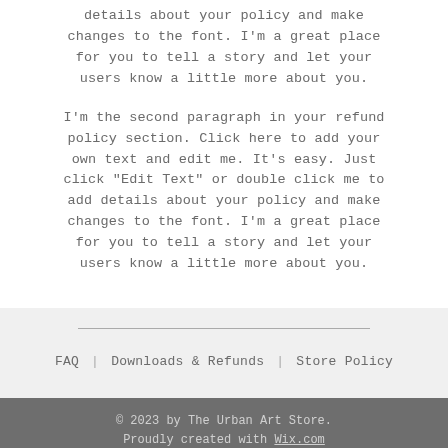details about your policy and make changes to the font. I'm a great place for you to tell a story and let your users know a little more about you.
I'm the second paragraph in your refund policy section. Click here to add your own text and edit me. It's easy. Just click "Edit Text" or double click me to add details about your policy and make changes to the font. I'm a great place for you to tell a story and let your users know a little more about you.
FAQ | Downloads & Refunds | Store Policy
© 2023 by The Urban Art Store. Proudly created with Wix.com